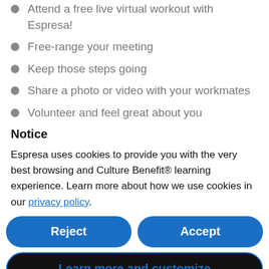Attend a free live virtual workout with Espresa!
Free-range your meeting
Keep those steps going
Share a photo or video with your workmates
Volunteer and feel great about you
Notice
Espresa uses cookies to provide you with the very best browsing and Culture Benefit® learning experience. Learn more about how we use cookies in our privacy policy.
Reject
Accept
Learn more and customize